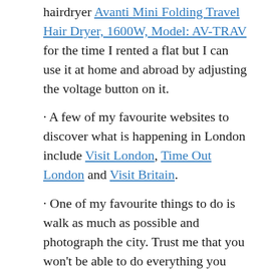hairdryer Avanti Mini Folding Travel Hair Dryer, 1600W, Model: AV-TRAV for the time I rented a flat but I can use it at home and abroad by adjusting the voltage button on it.
· A few of my favourite websites to discover what is happening in London include Visit London, Time Out London and Visit Britain.
· One of my favourite things to do is walk as much as possible and photograph the city. Trust me that you won't be able to do everything you want in just one visit. Two decades later, I still have many things I want to see.